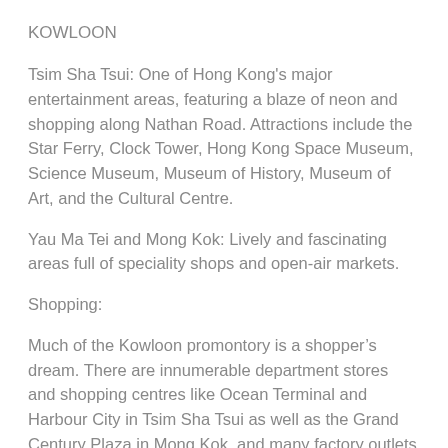KOWLOON
Tsim Sha Tsui: One of Hong Kong's major entertainment areas, featuring a blaze of neon and shopping along Nathan Road. Attractions include the Star Ferry, Clock Tower, Hong Kong Space Museum, Science Museum, Museum of History, Museum of Art, and the Cultural Centre.
Yau Ma Tei and Mong Kok: Lively and fascinating areas full of speciality shops and open-air markets.
Shopping:
Much of the Kowloon promontory is a shopper’s dream. There are innumerable department stores and shopping centres like Ocean Terminal and Harbour City in Tsim Sha Tsui as well as the Grand Century Plaza in Mong Kok, and many factory outlets along Granville Road and in the Hung Hom area. Nathan Road’s famous ‘Golden Mile’ is crowded with shoppers day and night.